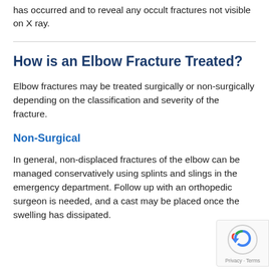has occurred and to reveal any occult fractures not visible on X ray.
How is an Elbow Fracture Treated?
Elbow fractures may be treated surgically or non-surgically depending on the classification and severity of the fracture.
Non-Surgical
In general, non-displaced fractures of the elbow can be managed conservatively using splints and slings in the emergency department. Follow up with an orthopedic surgeon is needed, and a cast may be placed once the swelling has dissipated. The is also more about related...